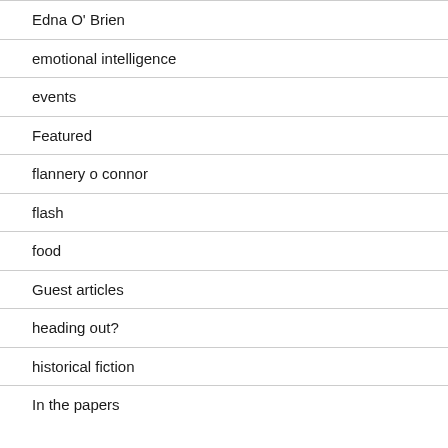Edna O' Brien
emotional intelligence
events
Featured
flannery o connor
flash
food
Guest articles
heading out?
historical fiction
In the papers